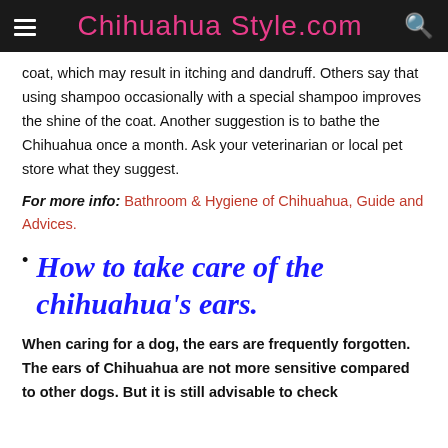Chihuahua Style.com
coat, which may result in itching and dandruff. Others say that using shampoo occasionally with a special shampoo improves the shine of the coat. Another suggestion is to bathe the Chihuahua once a month. Ask your veterinarian or local pet store what they suggest.
For more info: Bathroom & Hygiene of Chihuahua, Guide and Advices.
How to take care of the chihuahua's ears.
When caring for a dog, the ears are frequently forgotten. The ears of Chihuahua are not more sensitive compared to other dogs. But it is still advisable to check